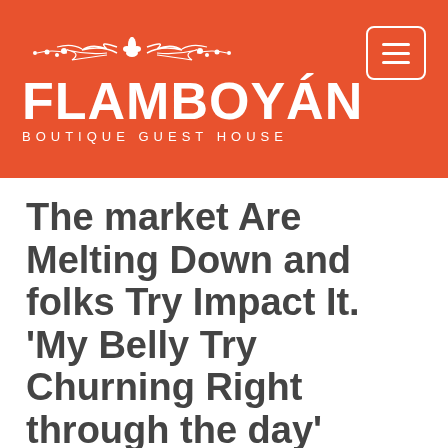[Figure (logo): Flamboyan Boutique Guest House logo with ornamental flourish on orange/red background, with a hamburger menu button in top right corner]
The market Are Melting Down and folks Try Impact It. ‘My Belly Try Churning Right through the day’
read such worry within his shoppers’ voices, it had been 2008 and also the internationally monetary program was planning so you’re able to failure.
Mr. Jones, the principle money administrator during the